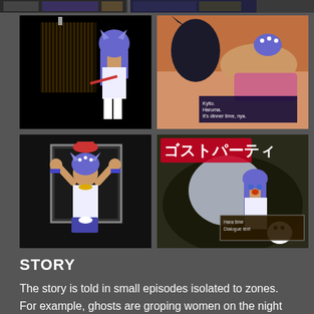[Figure (screenshot): Top strip showing two game screenshot thumbnails side by side]
[Figure (screenshot): Anime RPG game screenshot: blue-haired cat-girl character holding a weapon in a dark dungeon scene]
[Figure (screenshot): Anime game screenshot: blue-haired girl lying down with a dark creature, dialogue text visible at bottom]
[Figure (screenshot): Anime game screenshot: blue-haired cat-girl with arms raised in distress inside a frame]
[Figure (screenshot): Anime game screenshot: blue-haired girl in white outfit with Japanese title text in red/pink, ghost party scene]
STORY
The story is told in small episodes isolated to zones. For example, ghosts are groping women on the night train!